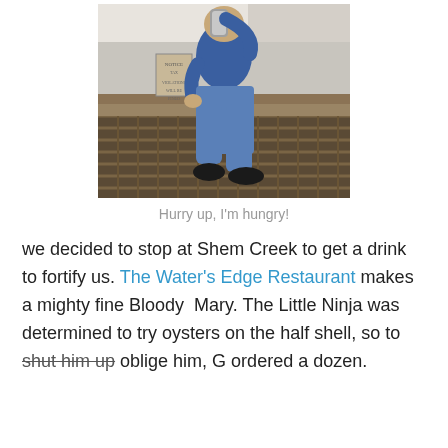[Figure (photo): Person in a blue polo shirt and blue jeans sitting on a wooden fence/railing outdoors, drinking from a can, wearing black shoes. Signs visible in background.]
Hurry up, I'm hungry!
we decided to stop at Shem Creek to get a drink to fortify us. The Water's Edge Restaurant makes a mighty fine Bloody Mary. The Little Ninja was determined to try oysters on the half shell, so to shut him up oblige him, G ordered a dozen.